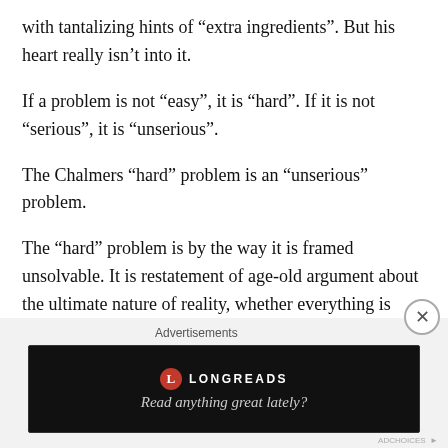with tantalizing hints of “extra ingredients”. But his heart really isn’t into it.
If a problem is not “easy”, it is “hard”. If it is not “serious”, it is “unserious”.
The Chalmers “hard” problem is an “unserious” problem.
The “hard” problem is by the way it is framed unsolvable. It is restatement of age-old argument about the ultimate nature of reality, whether everything is matter or mind. No scientific progress can ever be made on the “hard” problem because it is a philosophical problem. No matter how many brain pattern correlations we make we can never derive “experience” from them. We can never pro…
Advertisements
[Figure (screenshot): Longreads advertisement banner with logo and tagline 'Read anything great lately?' on dark background]